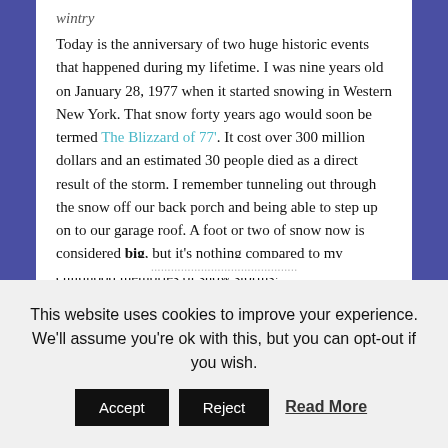wintry
Today is the anniversary of two huge historic events that happened during my lifetime. I was nine years old on January 28, 1977 when it started snowing in Western New York. That snow forty years ago would soon be termed The Blizzard of 77'. It cost over 300 million dollars and an estimated 30 people died as a direct result of the storm. I remember tunneling out through the snow off our back porch and being able to step up on to our garage roof. A foot or two of snow now is considered big, but it's nothing compared to my childhood memories of snow storms!
This website uses cookies to improve your experience. We'll assume you're ok with this, but you can opt-out if you wish.